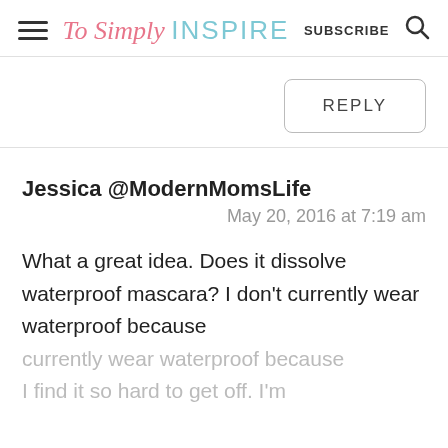To Simply INSPIRE  SUBSCRIBE
REPLY
Jessica @ModernMomsLife
May 20, 2016 at 7:19 am
What a great idea. Does it dissolve waterproof mascara? I don't currently wear waterproof because I find it so hard to get off. I'm